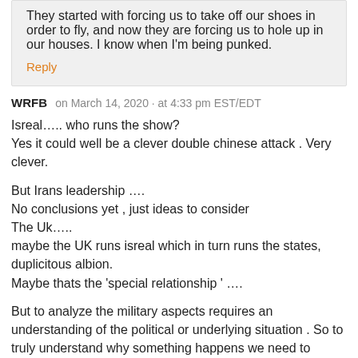They started with forcing us to take off our shoes in order to fly, and now they are forcing us to hole up in our houses. I know when I'm being punked.
Reply
WRFB   on March 14, 2020 · at 4:33 pm EST/EDT
Isreal….. who runs the show?
Yes it could well be a clever double chinese attack . Very clever.

But Irans leadership ….
No conclusions yet , just ideas to consider
The Uk…..
maybe the UK runs isreal which in turn runs the states, duplicitous albion.
Maybe thats the 'special relationship ' ….

But to analyze the military aspects requires an understanding of the political or underlying situation . So to truly understand why something happens we need to understand the mind set behind the act.
So , for example , say there is a cataclysmic event on the horizon,